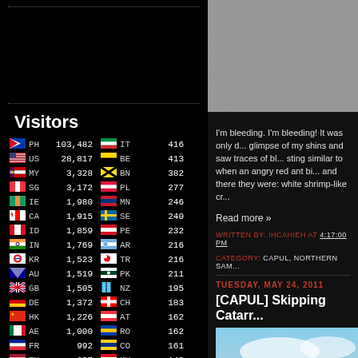Visitors
| Flag | CC | Count | Flag | CC | Count |
| --- | --- | --- | --- | --- | --- |
| PH | 103,482 | IT | 416 |
| US | 28,817 | BE | 413 |
| MY | 3,328 | BN | 382 |
| SG | 3,172 | PL | 277 |
| IE | 1,980 | MN | 246 |
| CA | 1,915 | SE | 240 |
| ID | 1,859 | PE | 232 |
| IN | 1,769 | AR | 216 |
| KR | 1,523 | TR | 216 |
| AU | 1,519 | PK | 211 |
| GB | 1,505 | NZ | 195 |
| DE | 1,372 | CH | 183 |
| HK | 1,226 | AT | 162 |
| AE | 1,000 | RO | 162 |
| FR | 992 | CO | 161 |
| TH | 927 | KW | 149 |
| JP | 912 | CZ | 148 |
| CN | 892 | GR | 145 |
| MX | 840 | NO | 133 |
| SA | 803 | FI | 127 |
| TW | 760 | MA | 126 |
| ES | 580 | PT | 123 |
| RU | 535 | MO | 123 |
| BR | 504 | BD | 107 |
[Figure (photo): Sandy/rocky surface texture photo in top right]
I'm bleeding. I'm bleeding! It was only d... glimpse of my shins and saw traces of bl... sting similar to when an angry red ant bi... and there they were: white shrimp-like cr...
Read more »
WRITTEN BY: IHCAHIEH AT 4:17:00 PM
CATEGORY: CAPUL, NORTHERN SAM...
TUESDAY, MAY 24, 2011
[CAPUL] Skipping Catarr...
[Figure (photo): Sky and landscape/sand dunes photo]